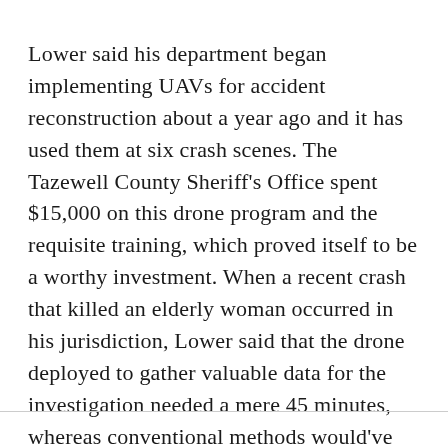Lower said his department began implementing UAVs for accident reconstruction about a year ago and it has used them at six crash scenes. The Tazewell County Sheriff's Office spent $15,000 on this drone program and the requisite training, which proved itself to be a worthy investment. When a recent crash that killed an elderly woman occurred in his jurisdiction, Lower said that the drone deployed to gather valuable data for the investigation needed a mere 45 minutes, whereas conventional methods would've required three hours.